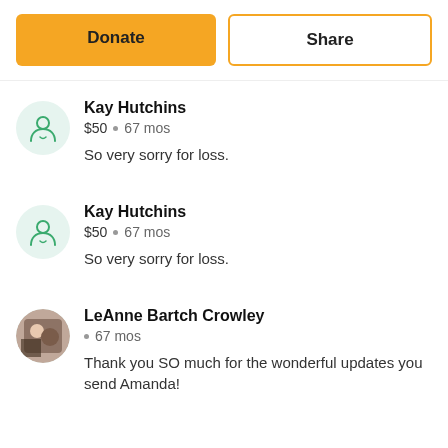[Figure (screenshot): Two buttons: orange 'Donate' button and white 'Share' button with orange border]
Kay Hutchins · $50 · 67 mos · So very sorry for loss.
Kay Hutchins · $50 · 67 mos · So very sorry for loss.
LeAnne Bartch Crowley · 67 mos · Thank you SO much for the wonderful updates you send Amanda!